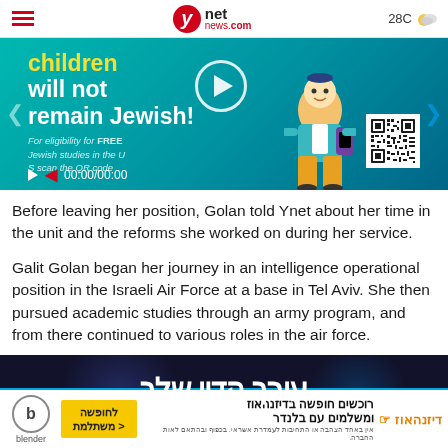ynetnews.com — 28C
[Figure (screenshot): Advertisement banner: teal background with text 'children will not remain Jewish!' and 'For eligibility for FREE Jewish studies in the US scan the QR code', featuring animated character and QR code, with video controls showing 00:00/00:00]
Before leaving her position, Golan told Ynet about her time in the unit and the reforms she worked on during her service.
Galit Golan began her journey in an intelligence operational position in the Israeli Air Force at a base in Tel Aviv. She then pursued academic studies through an army program, and from there continued to various roles in the air force.
[Figure (screenshot): Hebrew advertisement banner with dark background showing Hebrew text 'עורך הדין שלך' (Your lawyer)]
[Figure (screenshot): Bottom advertisement banner for Blender software with Hebrew text: רוכשים חופשה בדיזנהאוז ומשלמים עם בלנדר (Buy a vacation at Disneyhaus and pay with Blender), yellow button לחופשה משתלמת, Blender logo and Disneyhaus logo]